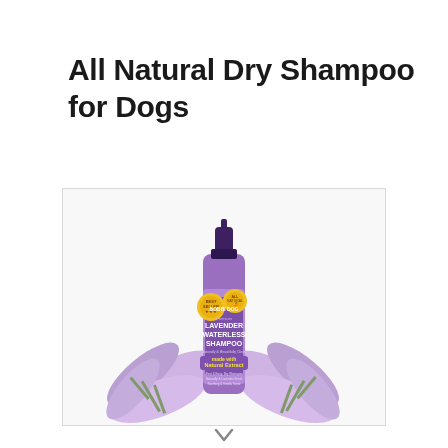All Natural Dry Shampoo for Dogs
[Figure (photo): Product photo of Bobbi Dog Premium Lavender Waterless Shampoo spray bottle with gold seal badges, surrounded by lavender sprigs at the base, on white background]